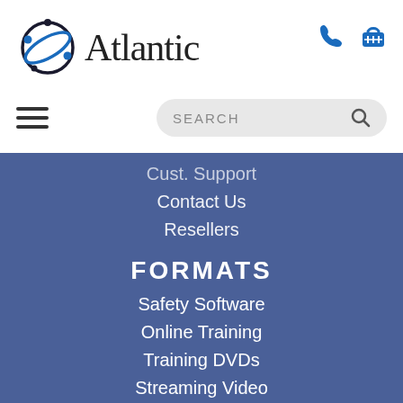[Figure (logo): Atlantic Training logo with circular globe icon and 'Atlantic' text]
[Figure (other): Phone icon (blue)]
[Figure (other): Shopping basket icon (blue)]
[Figure (other): Hamburger menu icon (three horizontal lines)]
[Figure (other): Search box with SEARCH text and magnifying glass icon]
Cust. Support
Contact Us
Resellers
FORMATS
Safety Software
Online Training
Training DVDs
Streaming Video
SCORM LMS Plugin
Onsite Training